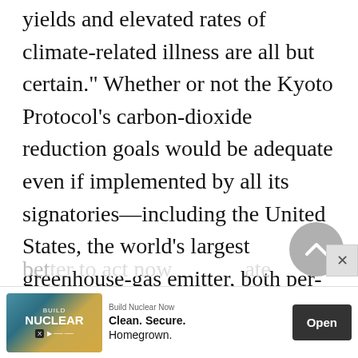which certain flooding, reduced crop yields and elevated rates of climate-related illness are all but certain." Whether or not the Kyoto Protocol's carbon-dioxide reduction goals would be adequate even if implemented by all its signatories—including the United States, the world's largest greenhouse-gas emitter, both per-capita and overall—is scientifically uncertain. Proponents of the protocol argue that given the global stakes, it is better to act now than to wait ate sto...
[Figure (other): Advertisement banner for Build Nuclear Now: Clean. Secure. Homegrown. with Open button]